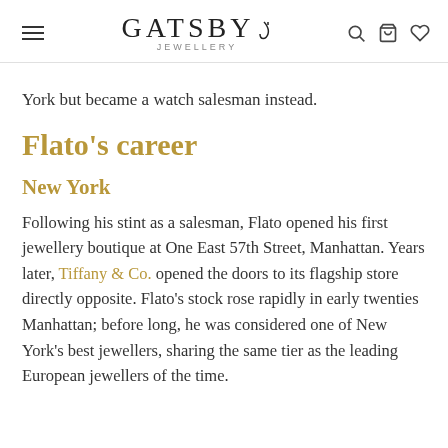GATSBY JEWELLERY
York but became a watch salesman instead.
Flato's career
New York
Following his stint as a salesman, Flato opened his first jewellery boutique at One East 57th Street, Manhattan. Years later, Tiffany & Co. opened the doors to its flagship store directly opposite. Flato's stock rose rapidly in early twenties Manhattan; before long, he was considered one of New York's best jewellers, sharing the same tier as the leading European jewellers of the time.